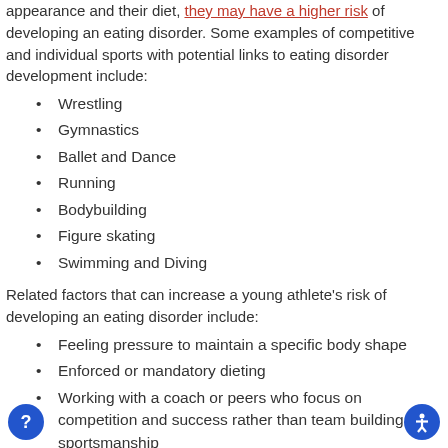appearance and their diet, they may have a higher risk of developing an eating disorder. Some examples of competitive and individual sports with potential links to eating disorder development include:
Wrestling
Gymnastics
Ballet and Dance
Running
Bodybuilding
Figure skating
Swimming and Diving
Related factors that can increase a young athlete's risk of developing an eating disorder include:
Feeling pressure to maintain a specific body shape
Enforced or mandatory dieting
Working with a coach or peers who focus on competition and success rather than team building and sportsmanship
Misconceptions surrounding body shape and better